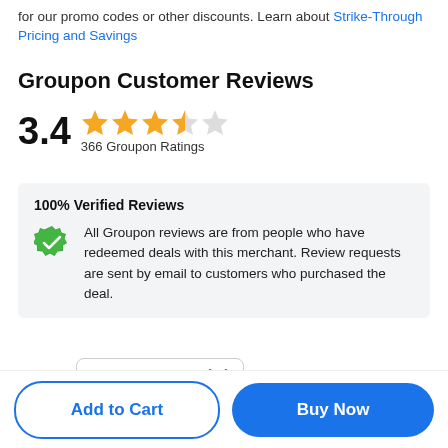for our promo codes or other discounts. Learn about Strike-Through Pricing and Savings
Groupon Customer Reviews
[Figure (infographic): Rating display showing 3.4 out of 5 stars with 3 full stars and 1 half star, labeled '366 Groupon Ratings']
100% Verified Reviews
All Groupon reviews are from people who have redeemed deals with this merchant. Review requests are sent by email to customers who purchased the deal.
Sort by: Most Recent
Add to Cart
Buy Now